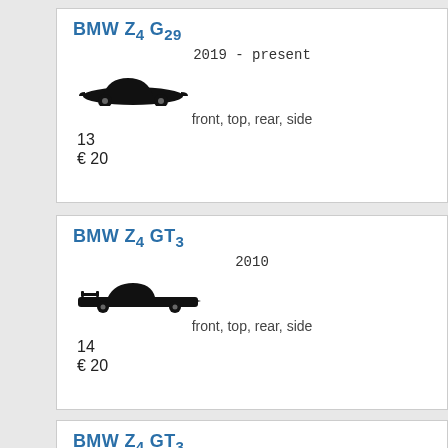BMW Z4 G29
2019 - present
[Figure (illustration): Black silhouette of a BMW Z4 G29 sports car, side view]
front, top, rear, side
13
€ 20
BMW Z4 GT3
2010
[Figure (illustration): Black silhouette of a BMW Z4 GT3 racing car, side view]
front, top, rear, side
14
€ 20
BMW Z4 GT3
2014
[Figure (illustration): Black silhouette of a BMW Z4 GT3 racing car 2014, side view]